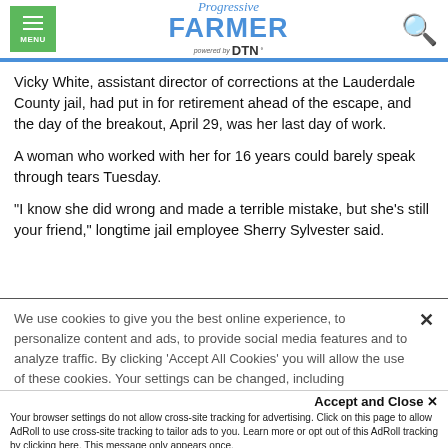Progressive Farmer powered by DTN
Vicky White, assistant director of corrections at the Lauderdale County jail, had put in for retirement ahead of the escape, and the day of the breakout, April 29, was her last day of work.
A woman who worked with her for 16 years could barely speak through tears Tuesday.
"I know she did wrong and made a terrible mistake, but she's still your friend," longtime jail employee Sherry Sylvester said.
We use cookies to give you the best online experience, to personalize content and ads, to provide social media features and to analyze traffic. By clicking 'Accept All Cookies' you will allow the use of these cookies. Your settings can be changed, including withdrawing your consent at any time, by clicking 'Cookie Settings'. Find out more on how we and third parties use cookies in our  Cookie Policy
Accept and Close ×
Your browser settings do not allow cross-site tracking for advertising. Click on this page to allow AdRoll to use cross-site tracking to tailor ads to you. Learn more or opt out of this AdRoll tracking by clicking here. This message only appears once.